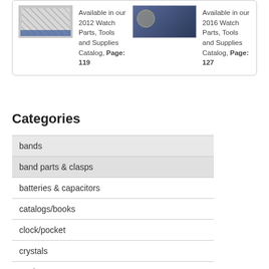[Figure (photo): Catalog cover image for 2012 Watch Parts, Tools and Supplies Catalog]
Available in our 2012 Watch Parts, Tools and Supplies Catalog, Page: 119
[Figure (photo): Catalog cover image for 2016 Watch Parts, Tools and Supplies Catalog]
Available in our 2016 Watch Parts, Tools and Supplies Catalog, Page: 127
Categories
bands
band parts & clasps
batteries & capacitors
catalogs/books
clock/pocket
crystals
equipment
gaskets
jewelry items